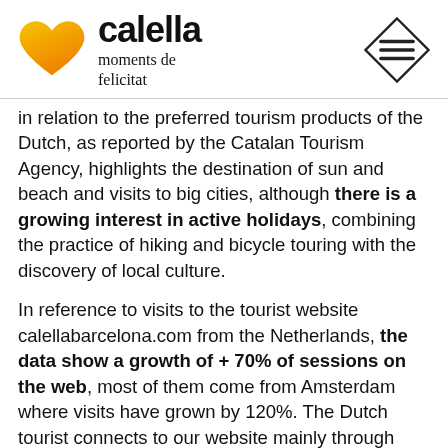[Figure (logo): Calella tourism logo with yellow heart and text 'calella moments de felicitat', plus diamond menu icon on the right]
in relation to the preferred tourism products of the Dutch, as reported by the Catalan Tourism Agency, highlights the destination of sun and beach and visits to big cities, although there is a growing interest in active holidays, combining the practice of hiking and bicycle touring with the discovery of local culture.
In reference to visits to the tourist website calellabarcelona.com from the Netherlands, the data show a growth of + 70% of sessions on the web, most of them come from Amsterdam where visits have grown by 120%. The Dutch tourist connects to our website mainly through Google, and 40% of visits arrive via smartphone. Dutch users show interest in how to get to Calella, what to do, the Screamin Festival, Ironman, Dalmau Park or the water activities of the Calella beaches.